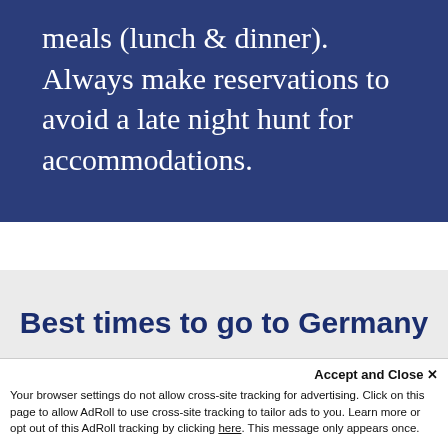meals (lunch & dinner). Always make reservations to avoid a late night hunt for accommodations.
Best times to go to Germany
High Season (Jul–Aug)
Accept and Close ✕
Your browser settings do not allow cross-site tracking for advertising. Click on this page to allow AdRoll to use cross-site tracking to tailor ads to you. Learn more or opt out of this AdRoll tracking by clicking here. This message only appears once.